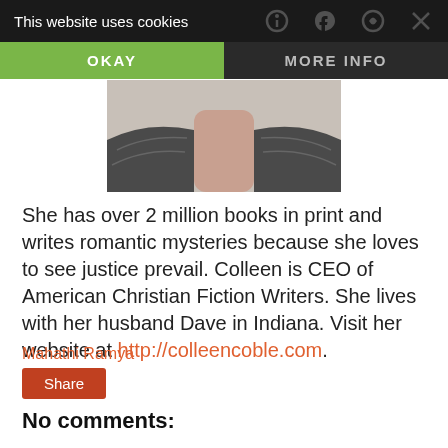This website uses cookies | OKAY | MORE INFO
[Figure (photo): Partial photo of a person showing neck and shoulders with dark textured clothing/collar]
She has over 2 million books in print and writes romantic mysteries because she loves to see justice prevail. Colleen is CEO of American Christian Fiction Writers. She lives with her husband Dave in Indiana. Visit her website at http://colleencoble.com.
Mahathi Ramya
Share
No comments: